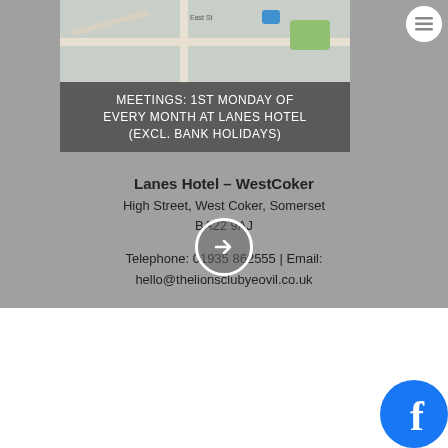[Figure (map): Street map showing the area around Lanes Hotel, West Coker, Somerset]
MEETINGS: 1ST MONDAY OF EVERY MONTH AT LANES HOTEL (EXCL. BANK HOLIDAYS)
Lanes Hotel – WestCoker
High Street, West Coker, Somerset
BA22 9AJ

Telephone: 01935 862555 | Email:
hello@thelionsclubyeovil.co.uk
[Figure (other): Arrow circle button pointing right]
[Figure (logo): AztecMedia logo with creative marketing solutions since 1993 tagline]
[Figure (illustration): AztecMedia mascot cartoon figure]
Website design Yeovil, Somerset by AztecMedia
© Copyright 2004-2022 The Lions Club of Yeovil - All Rights Reserved
[Figure (logo): Facebook logo circle]